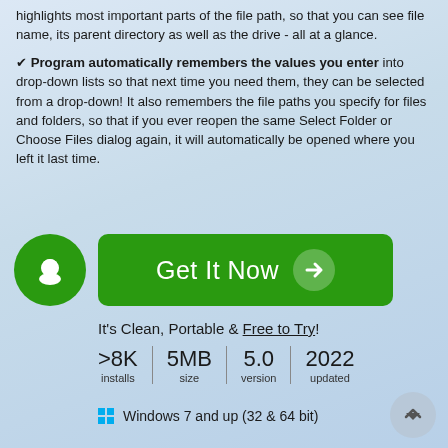highlights most important parts of the file path, so that you can see file name, its parent directory as well as the drive - all at a glance.
✔ Program automatically remembers the values you enter into drop-down lists so that next time you need them, they can be selected from a drop-down! It also remembers the file paths you specify for files and folders, so that if you ever reopen the same Select Folder or Choose Files dialog again, it will automatically be opened where you left it last time.
[Figure (illustration): Green circle with white smiling face icon, and a green rounded rectangle button labeled 'Get It Now' with a right arrow]
It's Clean, Portable & Free to Try!
| >8K installs | 5MB size | 5.0 version | 2022 updated |
| --- | --- | --- | --- |
Windows 7 and up (32 & 64 bit)